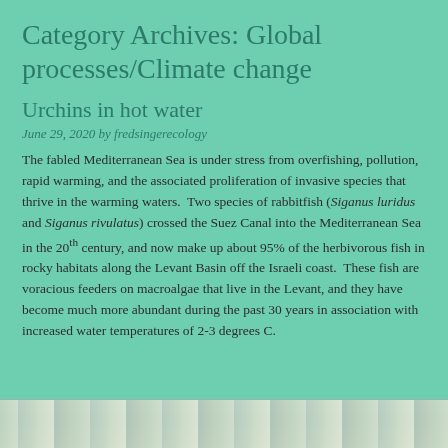Category Archives: Global processes/Climate change
Urchins in hot water
June 29, 2020 by fredsingerecology
The fabled Mediterranean Sea is under stress from overfishing, pollution, rapid warming, and the associated proliferation of invasive species that thrive in the warming waters.  Two species of rabbitfish (Siganus luridus and Siganus rivulatus) crossed the Suez Canal into the Mediterranean Sea in the 20th century, and now make up about 95% of the herbivorous fish in rocky habitats along the Levant Basin off the Israeli coast.  These fish are voracious feeders on macroalgae that live in the Levant, and they have become much more abundant during the past 30 years in association with increased water temperatures of 2-3 degrees C.
[Figure (photo): Partial view of a photo at the bottom of the page, showing what appears to be an underwater or coastal scene with muted greens and grays.]